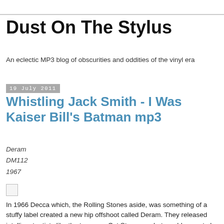Dust On The Stylus
An eclectic MP3 blog of obscurities and oddities of the vinyl era
19 July 2011
Whistling Jack Smith - I Was Kaiser Bill's Batman mp3
Deram
DM112
1967
[Figure (other): Small image placeholder (broken/loading image icon)]
In 1966 Decca which, the Rolling Stones aside, was something of a stuffy label created a new hip offshoot called Deram. They released intelligent artists like the teenager Cat Stevens, what would come to be known as 'progressive'